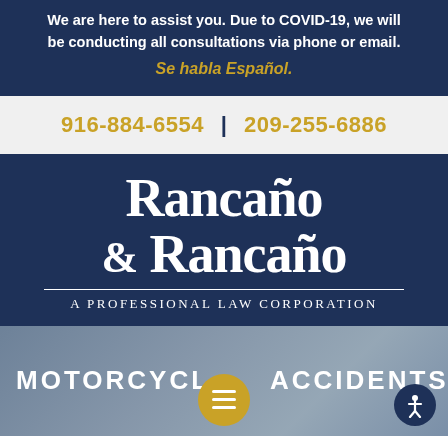We are here to assist you. Due to COVID-19, we will be conducting all consultations via phone or email. Se habla Español.
916-884-6554 | 209-255-6886
[Figure (logo): Rancaño & Rancaño — A Professional Law Corporation logo in white serif font on dark navy background]
MOTORCYCLE ACCIDENTS